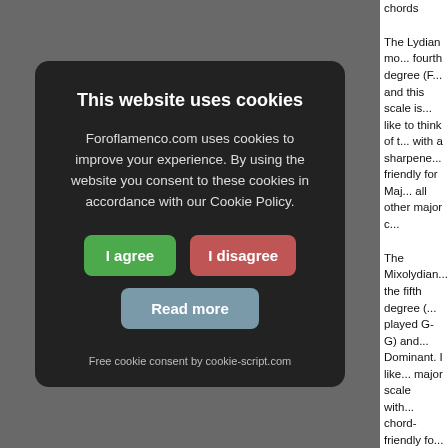chords
The Lydian mode is built from the fourth degree (F# in G major) and this scale is a Major scale... like to think of the Lydian mode with a sharpened fourth. It is chord-friendly for Major chords and all other major chords...
The Mixolydian mode is built from the fifth degree (played G-G) and is a Dominant. I like major scale with chord-friendly for (chords with a minor... doesn't really matter... altered, or whether...
[Figure (screenshot): Cookie consent modal dialog with dark background. Title: 'This website uses cookies'. Body text: 'Foroflamenco.com uses cookies to improve your experience. By using the website you consent to these cookies in accordance with our Cookie Policy.' Three buttons: 'I agree' (green), 'I disagree' (red), 'Read more' (gray-blue). Footer: 'Free cookie consent by cookie-script.com'.]
The last mode is built from the major scale from... Major played B-... the Leading Tone... a Minor scale w... baby! heh This minor7b5 chord other minor cho... dominant chords this is a very abs...